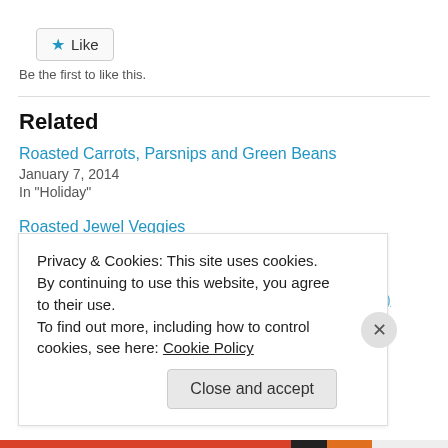[Figure (other): Like button with blue star icon and text 'Like']
Be the first to like this.
Related
Roasted Carrots, Parsnips and Green Beans
January 7, 2014
In "Holiday"
Roasted Jewel Veggies
February 22, 2013
In "Holiday"
Fritatta di Saldiccia e Cipolla (Sausage & Onion Fritatta)
Privacy & Cookies: This site uses cookies. By continuing to use this website, you agree to their use.
To find out more, including how to control cookies, see here: Cookie Policy
Close and accept